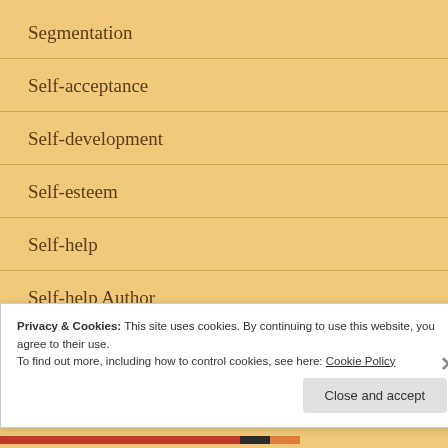Segmentation
Self-acceptance
Self-development
Self-esteem
Self-help
Self-help Author
Privacy & Cookies: This site uses cookies. By continuing to use this website, you agree to their use.
To find out more, including how to control cookies, see here: Cookie Policy
Close and accept